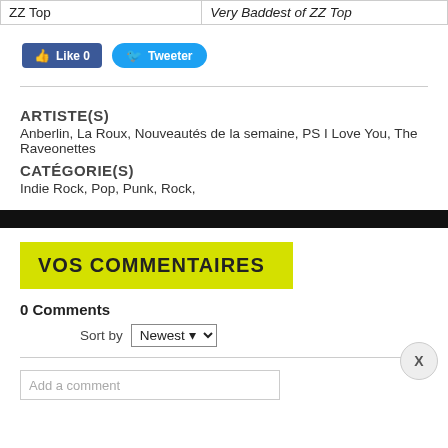| ZZ Top | Very Baddest of ZZ Top |
[Figure (screenshot): Social sharing buttons: Like 0 (Facebook blue) and Tweeter (Twitter blue)]
ARTISTE(S)
Anberlin, La Roux, Nouveautés de la semaine, PS I Love You, The Raveonettes
CATÉGORIE(S)
Indie Rock, Pop, Punk, Rock,
VOS COMMENTAIRES
0 Comments
Sort by Newest
Add a comment